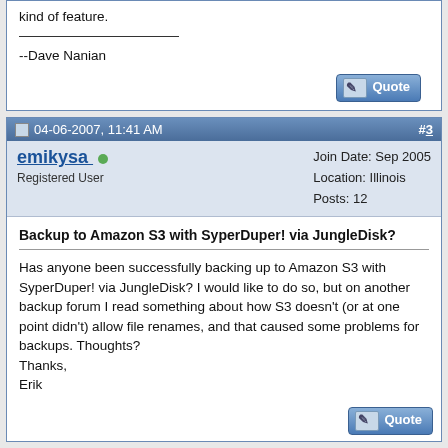kind of feature.
--Dave Nanian
Post #3, 04-06-2007, 11:41 AM, emikysa, Registered User, Join Date: Sep 2005, Location: Illinois, Posts: 12
Backup to Amazon S3 with SyperDuper! via JungleDisk?
Has anyone been successfully backing up to Amazon S3 with SyperDuper! via JungleDisk? I would like to do so, but on another backup forum I read something about how S3 doesn't (or at one point didn't) allow file renames, and that caused some problems for backups. Thoughts?
Thanks,
Erik
Post #4, 04-06-2007, 11:58 AM, dnanian, Administrator, Join Date: Apr 2001, Location: Weston, MA, Posts: 14,820
I think it's highly unlikely this is going to work acceptably,